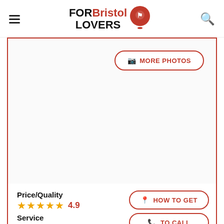FORBristol LOVERS
[Figure (screenshot): More Photos button with camera icon, bordered in red]
Price/Quality
4.9
Service
4.8
Parking
4.2
HOW TO GET
TO CALL
WHATSAPP